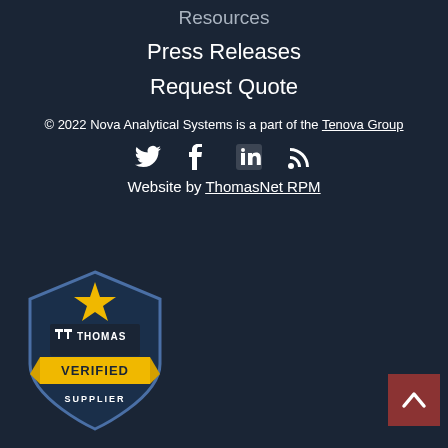Resources
Press Releases
Request Quote
© 2022 Nova Analytical Systems is a part of the Tenova Group
[Figure (infographic): Social media icons: Twitter, Facebook, LinkedIn, RSS feed]
Website by ThomasNet RPM
[Figure (logo): Thomas Verified Supplier badge - shield shape with star, THOMAS logo, VERIFIED SUPPLIER text in gold and dark blue]
[Figure (other): Back to top button - dark red square with upward chevron arrow]